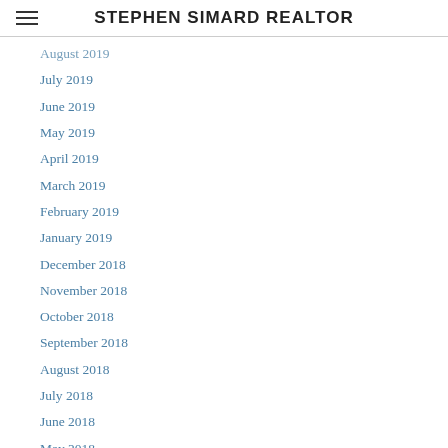STEPHEN SIMARD REALTOR
August 2019
July 2019
June 2019
May 2019
April 2019
March 2019
February 2019
January 2019
December 2018
November 2018
October 2018
September 2018
August 2018
July 2018
June 2018
May 2018
April 2018
March 2018
February 2018
January 2018